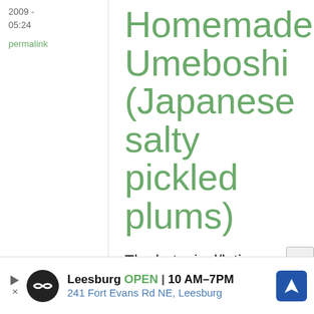2009 -
05:24
permalink
Homemade Umeboshi (Japanese salty pickled plums)
The botanical/latin name for the ume tree according to Wikipedia is Prunus mume. I've heard from people in Washington State.
[Figure (infographic): Advertisement banner for Leesburg business showing logo, open hours 10AM-7PM, address 241 Fort Evans Rd NE Leesburg, and navigation icon]